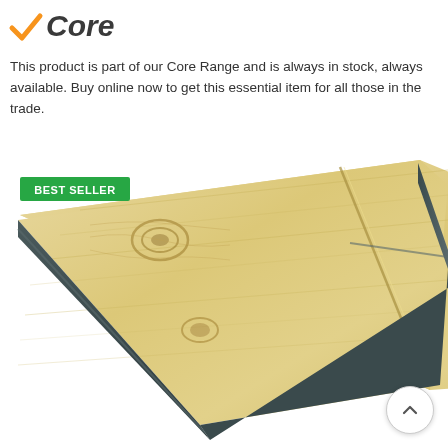[Figure (logo): Core brand logo with orange checkmark and italic bold text 'Core']
This product is part of our Core Range and is always in stock, always available. Buy online now to get this essential item for all those in the trade.
[Figure (photo): Photo of a light pine wood plank/board viewed at an angle showing the top face and dark grey end grain. A green 'BEST SELLER' badge is overlaid in the top-left corner of the image.]
[Figure (other): Circular scroll-to-top button with an upward chevron arrow]